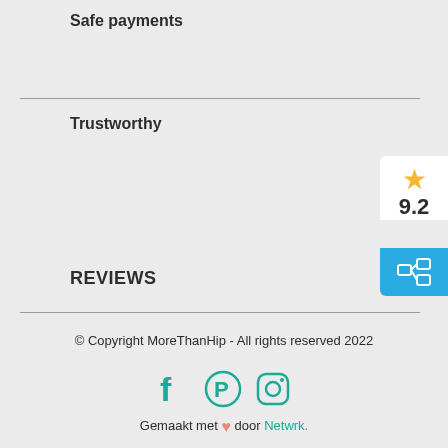Safe payments
Trustworthy
[Figure (infographic): Rating widget showing a gold star and score of 9.2, with a blue bar containing a share/comparison icon below]
REVIEWS
© Copyright MoreThanHip - All rights reserved 2022
[Figure (infographic): Social media icons: Facebook, Pinterest, Instagram in teal/green color]
Gemaakt met ❤ door Netwrk.